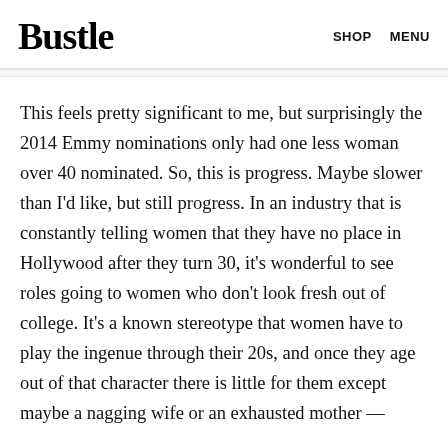Bustle   SHOP   MENU
This feels pretty significant to me, but surprisingly the 2014 Emmy nominations only had one less woman over 40 nominated. So, this is progress. Maybe slower than I'd like, but still progress. In an industry that is constantly telling women that they have no place in Hollywood after they turn 30, it's wonderful to see roles going to women who don't look fresh out of college. It's a known stereotype that women have to play the ingenue through their 20s, and once they age out of that character there is little for them except maybe a nagging wife or an exhausted mother —